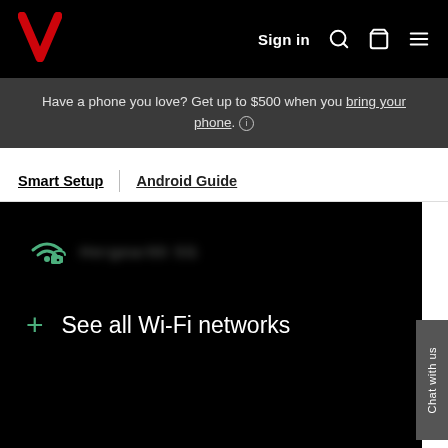Verizon logo | Sign in | Search | Bag | Menu
Have a phone you love? Get up to $500 when you bring your phone. (i)
Smart Setup | Android Guide
[Figure (screenshot): Android phone screenshot showing a Wi-Fi network selection screen on a black background. A green Wi-Fi icon with a lock is shown with a blurred network name, and below it a green plus sign with the text 'See all Wi-Fi networks'.]